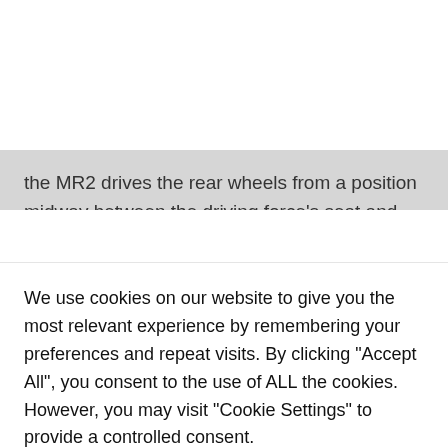the MR2 drives the rear wheels from a position midway between the driving force's seat and the rear axle of the automobile. He's written about million-dollar supercars and
We use cookies on our website to give you the most relevant experience by remembering your preferences and repeat visits. By clicking "Accept All", you consent to the use of ALL the cookies. However, you may visit "Cookie Settings" to provide a controlled consent.